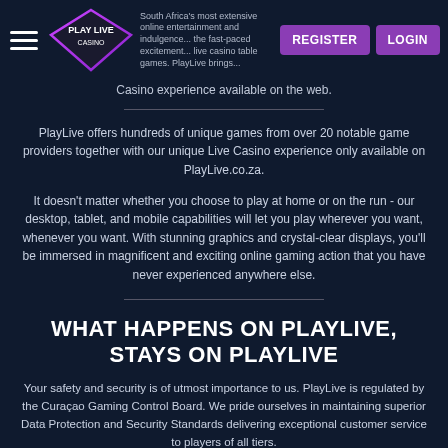Play Live Casino — Register | Login
Casino experience available on the web.
PlayLive offers hundreds of unique games from over 20 notable game providers together with our unique Live Casino experience only available on PlayLive.co.za.
It doesn't matter whether you choose to play at home or on the run - our desktop, tablet, and mobile capabilities will let you play wherever you want, whenever you want. With stunning graphics and crystal-clear displays, you'll be immersed in magnificent and exciting online gaming action that you have never experienced anywhere else.
WHAT HAPPENS ON PLAYLIVE, STAYS ON PLAYLIVE
Your safety and security is of utmost importance to us. PlayLive is regulated by the Curaçao Gaming Control Board. We pride ourselves in maintaining superior Data Protection and Security Standards delivering exceptional customer service to players of all tiers.